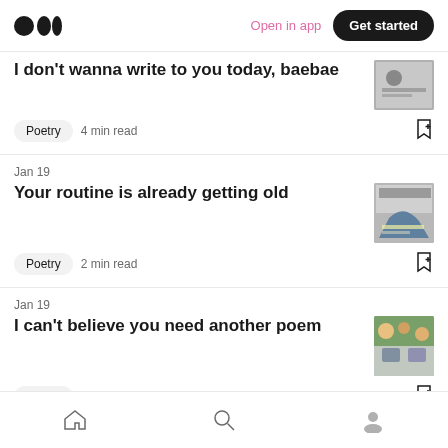Medium app header with logo, Open in app, Get started
I don't wanna write to you today, baebae
Poetry  4 min read
Jan 19
Your routine is already getting old
Poetry  2 min read
Jan 19
I can't believe you need another poem
Poetry  7 min read
Bottom navigation bar: Home, Search, Profile